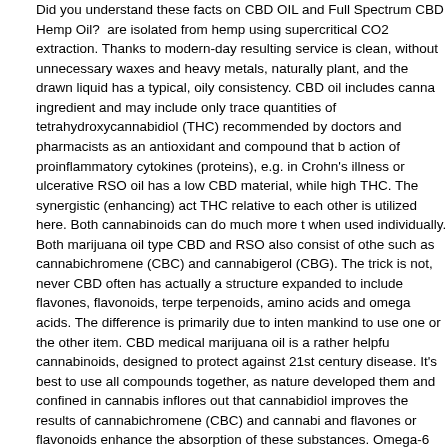Did you understand these facts on CBD OIL and Full Spectrum CBD Hemp Oil? are isolated from hemp using supercritical CO2 extraction. Thanks to modern-day resulting service is clean, without unnecessary waxes and heavy metals, naturally plant, and the drawn liquid has a typical, oily consistency. CBD oil includes canna ingredient and may include only trace quantities of tetrahydroxycannabidiol (THC) recommended by doctors and pharmacists as an antioxidant and compound that b action of proinflammatory cytokines (proteins), e.g. in Crohn's illness or ulcerative RSO oil has a low CBD material, while high THC. The synergistic (enhancing) act THC relative to each other is utilized here. Both cannabinoids can do much more t when used individually. Both marijuana oil type CBD and RSO also consist of othe such as cannabichromene (CBC) and cannabigerol (CBG). The trick is not, never CBD often has actually a structure expanded to include flavones, flavonoids, terpe terpenoids, amino acids and omega acids. The difference is primarily due to inten mankind to use one or the other item. CBD medical marijuana oil is a rather helpfu cannabinoids, designed to protect against 21st century disease. It's best to use all compounds together, as nature developed them and confined in cannabis inflores out that cannabidiol improves the results of cannabichromene (CBC) and cannabi and flavones or flavonoids enhance the absorption of these substances. Omega-6 extremely nourish the body and do not permit to alter, which speed up the aging p organism and enhance the advancement of cancer. Oil of cannabis in a kind of pa contains little amounts of CBD, stabilized by the existence of THC. – Modern clinic study reveals that CBD + THC cope with severe autoimmune illness, while CBC o very little activity in the presence of both substances, simply like flavones, flavono therefore their content in the solution appears to be unneeded. In addition, the ma from which THC and CBD are obtained consist of negligible quantities of other ca Marijuana oil has actually currently marked a brand-new period in which man ceas is unidentified, and started to uncover what our ancestors had currently discovere significant capacity, at very first look, a little strange relationships, associated gene pathology. Medical cannabis, contrary to its name, does not suggest fermented fo